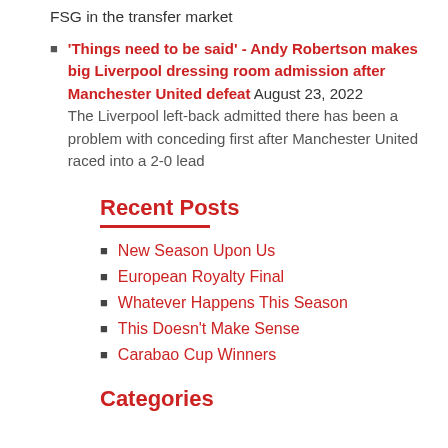FSG in the transfer market
'Things need to be said' - Andy Robertson makes big Liverpool dressing room admission after Manchester United defeat August 23, 2022
The Liverpool left-back admitted there has been a problem with conceding first after Manchester United raced into a 2-0 lead
Recent Posts
New Season Upon Us
European Royalty Final
Whatever Happens This Season
This Doesn't Make Sense
Carabao Cup Winners
Categories